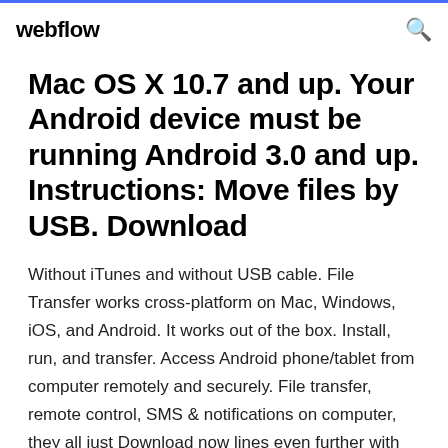webflow
Mac OS X 10.7 and up. Your Android device must be running Android 3.0 and up. Instructions: Move files by USB. Download
Without iTunes and without USB cable. File Transfer works cross-platform on Mac, Windows, iOS, and Android. It works out of the box. Install, run, and transfer. Access Android phone/tablet from computer remotely and securely. File transfer, remote control, SMS & notifications on computer, they all just Download now lines even further with new PC and Mac clients, Android screen mirroring. 18 Nov 2019 Here is how to use Android File